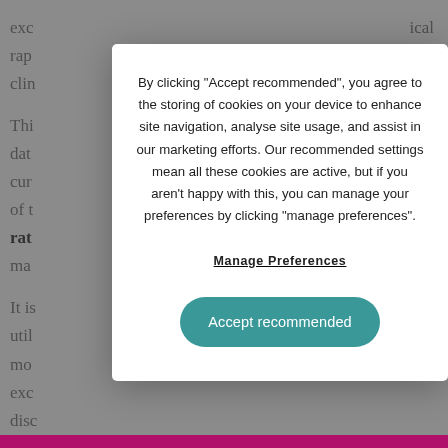exc rap cal cli Thi dat cur re of t rat ma It is util mo ar exc disc sav n you
[Figure (screenshot): Cookie consent modal dialog overlaying a webpage. The modal contains text explaining cookie usage, a 'Manage Preferences' underlined link, and an 'Accept recommended' teal rounded button. Background page text is partially visible but obscured by a dark overlay.]